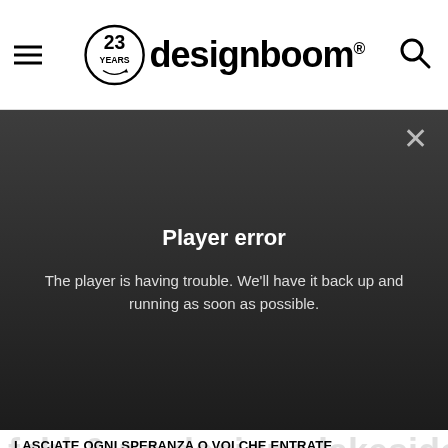[Figure (logo): designboom website header with hamburger menu, 23 years badge logo, and search icon]
[Figure (screenshot): Video player error overlay on dark gradient background with close X button, showing 'Player error' title and error message text]
Player error
The player is having trouble. We'll have it back up and running as soon as possible.
LASCIATE OGNI SPERANZA O VOI CHE ENTRATE
(divine comedy, dante alighieri)
we use cookies to make your reading a better experience.
got it!
633 shares
more info >